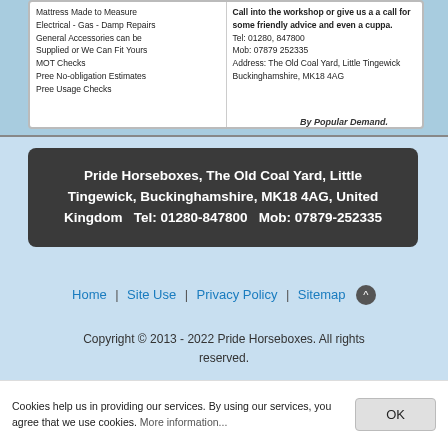[Figure (other): Partial advertisement image for Pride Horseboxes showing two columns of text: left column lists services (Mattress Made to Measure, Electrical - Gas - Damp Repairs, General Accessories can be Supplied or We Can Fit Yours, MOT Checks, Free No-obligation Estimates, Free Usage Checks), right column shows contact info (Call into the workshop or give us a call for some friendly advice and even a cuppa. Tel: 01280, 847800 Mob: 07879 252335 Address: The Old Coal Yard, Little Tingewick Buckinghamshire, MK18 4AG). Bottom reads 'By Popular Demand.']
Pride Horseboxes, The Old Coal Yard, Little Tingewick, Buckinghamshire, MK18 4AG, United Kingdom  Tel: 01280-847800  Mob: 07879-252335
Home | Site Use | Privacy Policy | Sitemap
Copyright © 2013 - 2022 Pride Horseboxes. All rights reserved.
Powered by its4your.com
Cookies help us in providing our services. By using our services, you agree that we use cookies. More information...